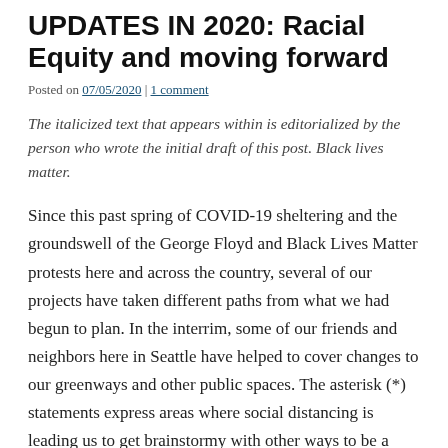UPDATES IN 2020: Racial Equity and moving forward
Posted on 07/05/2020 | 1 comment
The italicized text that appears within is editorialized by the person who wrote the initial draft of this post. Black lives matter.
Since this past spring of COVID-19 sheltering and the groundswell of the George Floyd and Black Lives Matter protests here and across the country, several of our projects have taken different paths from what we had begun to plan. In the interrim, some of our friends and neighbors here in Seattle have helped to cover changes to our greenways and other public spaces. The asterisk (*) statements express areas where social distancing is leading us to get brainstormy with other ways to be a neighborhood together.